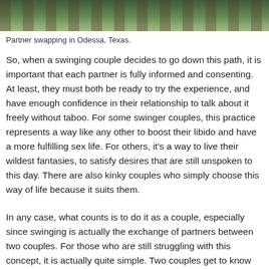[Figure (photo): Photograph showing trees or vegetation, appearing to be an outdoor nature scene, cropped at top of page — related to partner swapping in Odessa, Texas.]
Partner swapping in Odessa, Texas.
So, when a swinging couple decides to go down this path, it is important that each partner is fully informed and consenting. At least, they must both be ready to try the experience, and have enough confidence in their relationship to talk about it freely without taboo. For some swinger couples, this practice represents a way like any other to boost their libido and have a more fulfilling sex life. For others, it's a way to live their wildest fantasies, to satisfy desires that are still unspoken to this day. There are also kinky couples who simply choose this way of life because it suits them.
In any case, what counts is to do it as a couple, especially since swinging is actually the exchange of partners between two couples. For those who are still struggling with this concept, it is actually quite simple. Two couples get to know each other in a swingers club and appreciate each other. They then agree to have sex with each other, but by doing a partner exchange. This means that each partner will have the right to have sex with a member of